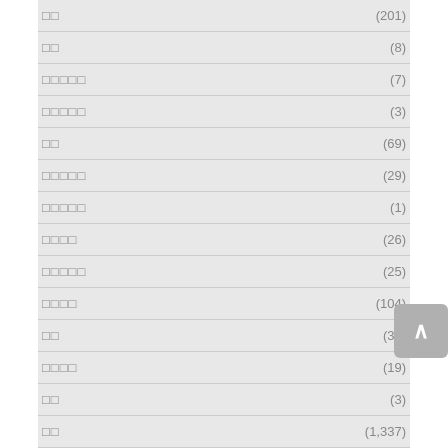□□  (201)
□□  (8)
□□□□□  (7)
□□□□□  (3)
□□  (69)
□□□□□  (29)
□□□□□  (1)
□□□□  (26)
□□□□□  (25)
□□□□  (104)
□□  (38)
□□□□  (19)
□□  (3)
□□  (1,337)